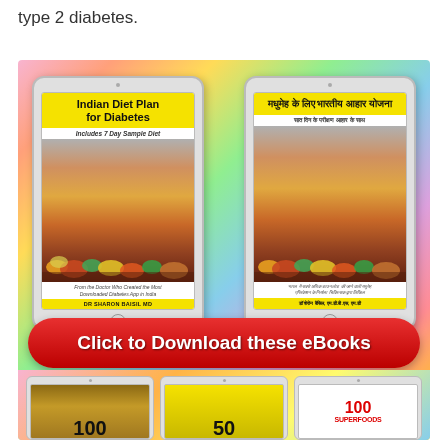type 2 diabetes.
[Figure (illustration): Promotional image showing two tablet devices displaying eBooks: 'Indian Diet Plan for Diabetes' (English) and the Hindi version 'मधुमेह के लिए भारतीय आहार योजना', both with food imagery and author Dr. Sharon Baisil MD, on a colorful rainbow background with a red 'Click to Download these eBooks' button, and three more tablets partially visible at the bottom.]